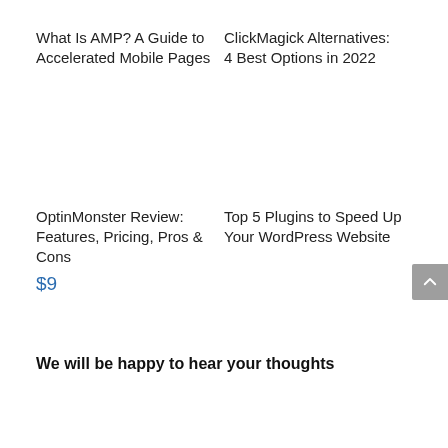What Is AMP? A Guide to Accelerated Mobile Pages
ClickMagick Alternatives: 4 Best Options in 2022
OptinMonster Review: Features, Pricing, Pros & Cons
$9
Top 5 Plugins to Speed Up Your WordPress Website
We will be happy to hear your thoughts